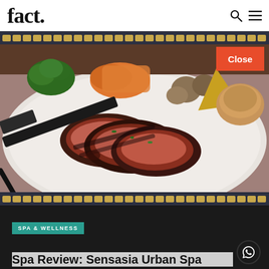fact.
[Figure (photo): Close-up photo of sliced beef/steak on a white plate with roasted vegetables including broccoli, orange squash, mushrooms, and a Yorkshire pudding, being cut with a knife]
Close
SPA & WELLNESS
Spa Review: Sensasia Urban Spa